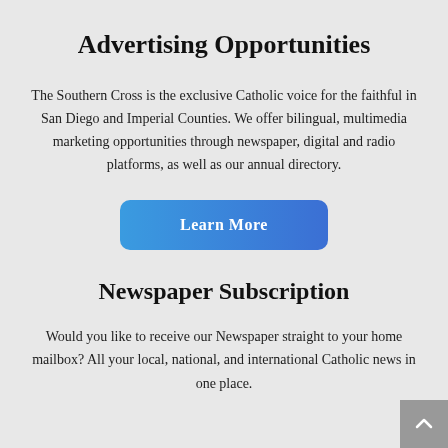Advertising Opportunities
The Southern Cross is the exclusive Catholic voice for the faithful in San Diego and Imperial Counties. We offer bilingual, multimedia marketing opportunities through newspaper, digital and radio platforms, as well as our annual directory.
[Figure (other): A blue gradient button labeled 'Learn More']
Newspaper Subscription
Would you like to receive our Newspaper straight to your home mailbox? All your local, national, and international Catholic news in one place.